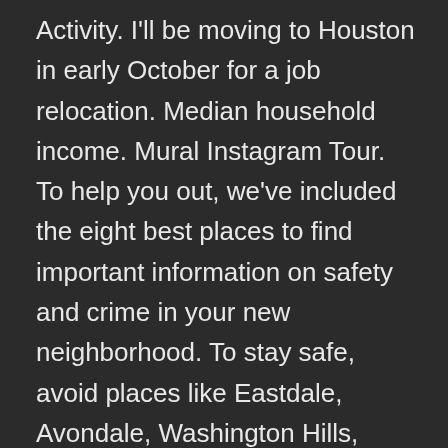Activity. I'll be moving to Houston in early October for a job relocation. Median household income. Mural Instagram Tour. To help you out, we've included the eight best places to find important information on safety and crime in your new neighborhood. To stay safe, avoid places like Eastdale, Avondale, Washington Hills, Lake Hills, and Riverside. Bring your leadership and technical expertise to drive an engineering team through major projects while operating at Google scale and speed. Both swimmers and beginners must. 7, 2017 Updated: Sep. The rapidly growing Houston area continues to rank the fourth largest metro area in the United States behind New York, Los Angeles, and Chicago. Tips for Staying Safe in Houston. Discover ALT: the future from an alternative perspective. 2021 Safe Suburbs in the Houston Area About this List. Memorial Park. View detailed floor plans, amenities, photos, local